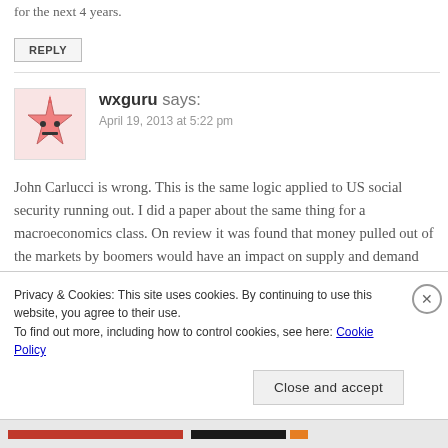for the next 4 years.
REPLY
wxguru says:
April 19, 2013 at 5:22 pm
John Carlucci is wrong. This is the same logic applied to US social security running out. I did a paper about the same thing for a macroeconomics class. On review it was found that money pulled out of the markets by boomers would have an impact on supply and demand greater then if they relied on
Privacy & Cookies: This site uses cookies. By continuing to use this website, you agree to their use.
To find out more, including how to control cookies, see here: Cookie Policy
Close and accept